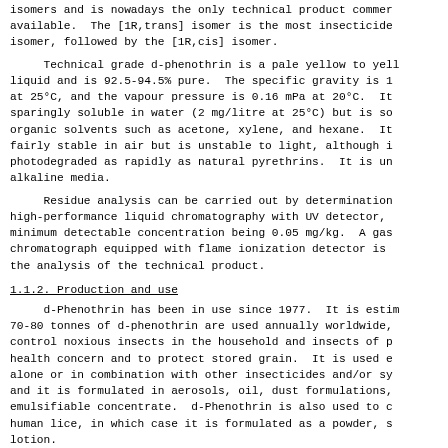isomers and is nowadays the only technical product commercially available.  The [1R,trans] isomer is the most insecticidally active isomer, followed by the [1R,cis] isomer.
Technical grade d-phenothrin is a pale yellow to yellow liquid and is 92.5-94.5% pure.  The specific gravity is 1.06 at 25°C, and the vapour pressure is 0.16 mPa at 20°C.  It is sparingly soluble in water (2 mg/litre at 25°C) but is soluble in organic solvents such as acetone, xylene, and hexane.  It is fairly stable in air but is unstable to light, although it is not photodegraded as rapidly as natural pyrethrins.  It is unstable in alkaline media.
Residue analysis can be carried out by determination using high-performance liquid chromatography with UV detector, the minimum detectable concentration being 0.05 mg/kg.  A gas chromatograph equipped with flame ionization detector is used for the analysis of the technical product.
1.1.2.  Production and use
d-Phenothrin has been in use since 1977.  It is estimated that 70-80 tonnes of d-phenothrin are used annually worldwide, mainly to control noxious insects in the household and insects of public health concern and to protect stored grain.  It is used either alone or in combination with other insecticides and/or synergists, and it is formulated in aerosols, oil, dust formulations, and emulsifiable concentrate.  d-Phenothrin is also used to control human lice, in which case it is formulated as a powder, shampoo, or lotion.